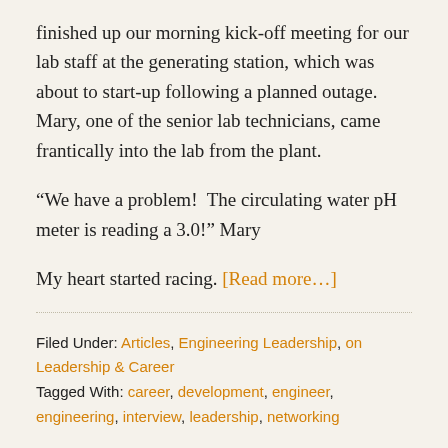finished up our morning kick-off meeting for our lab staff at the generating station, which was about to start-up following a planned outage. Mary, one of the senior lab technicians, came frantically into the lab from the plant.
“We have a problem!  The circulating water pH meter is reading a 3.0!” Mary
My heart started racing. [Read more...]
Filed Under: Articles, Engineering Leadership, on Leadership & Career
Tagged With: career, development, engineer, engineering, interview, leadership, networking